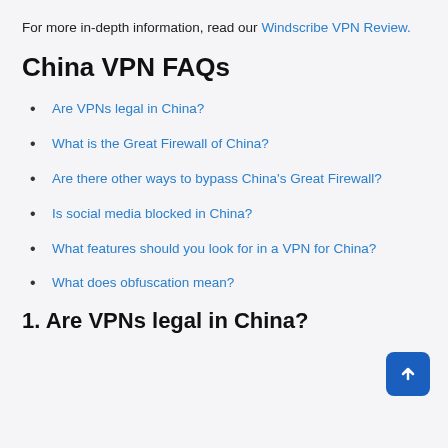For more in-depth information, read our Windscribe VPN Review.
China VPN FAQs
Are VPNs legal in China?
What is the Great Firewall of China?
Are there other ways to bypass China's Great Firewall?
Is social media blocked in China?
What features should you look for in a VPN for China?
What does obfuscation mean?
1. Are VPNs legal in China?